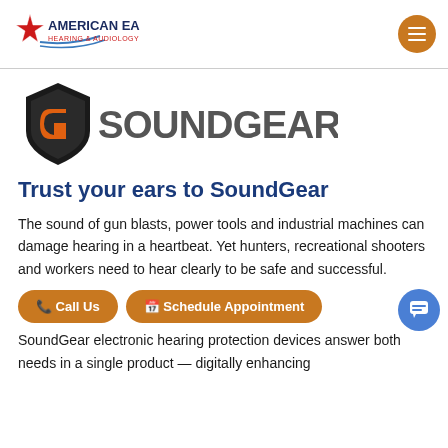American Ear Hearing & Audiology
[Figure (logo): SoundGear logo: dark shield with orange stylized 'G' icon and 'SOUNDGEAR' text in grey]
Trust your ears to SoundGear
The sound of gun blasts, power tools and industrial machines can damage hearing in a heartbeat. Yet hunters, recreational shooters and workers need to hear clearly to be safe and successful.
SoundGear electronic hearing protection devices answer both needs in a single product — digitally enhancing